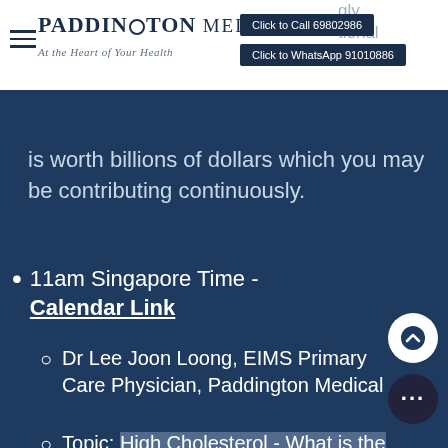[Figure (logo): Paddington Medical logo with tagline 'At the Heart of Your Health' and hamburger menu icon]
Click to Call 69802986
Click to WhatsApp 91010886
is worth billions of dollars which you may be contributing continuously.
11am Singapore Time - Calendar Link
Dr Lee Joon Loong, EIMS Primary Care Physician, Paddington Medical
Topic: High Cholesterol - What is the best treatment for this? What kind of Exercise should I be doing? Diet, Exercise Both?